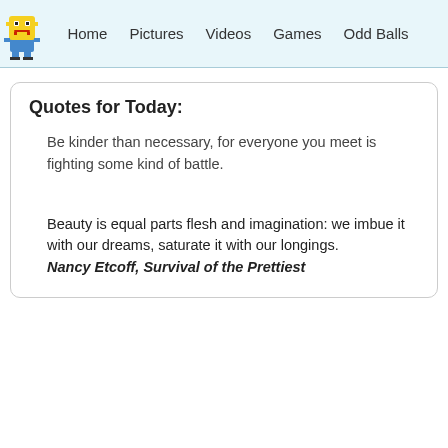Home  Pictures  Videos  Games  Odd Balls
Quotes for Today:
Be kinder than necessary, for everyone you meet is fighting some kind of battle.
Beauty is equal parts flesh and imagination: we imbue it with our dreams, saturate it with our longings.
Nancy Etcoff, Survival of the Prettiest